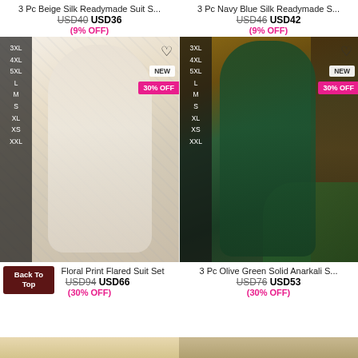3 Pc Beige Silk Readymade Suit S...
USD40 USD36
(9% OFF)
3 Pc Navy Blue Silk Readymade S...
USD46 USD42
(9% OFF)
[Figure (photo): Woman in white floral printed flared suit with dupatta, size options 3XL 4XL 5XL L M S XL XS XXL shown, NEW and 30% OFF badges, heart icon]
[Figure (photo): Woman in dark green solid anarkali suit with grey dupatta, size options 3XL 4XL 5XL L M S XL XS XXL shown, NEW and 30% OFF badges, heart icon]
3 Pc... Floral Print Flared Suit Set
USD94 USD66
(30% OFF)
3 Pc Olive Green Solid Anarkali S...
USD76 USD53
(30% OFF)